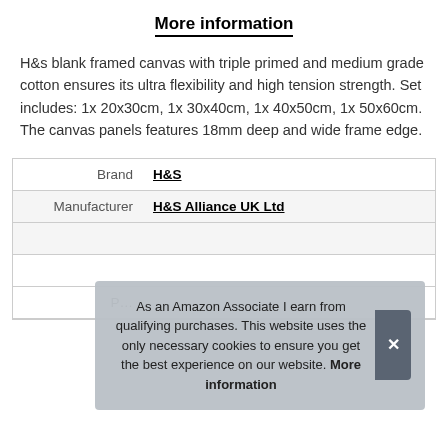More information
H&s blank framed canvas with triple primed and medium grade cotton ensures its ultra flexibility and high tension strength. Set includes: 1x 20x30cm, 1x 30x40cm, 1x 40x50cm, 1x 50x60cm. The canvas panels features 18mm deep and wide frame edge.
|  |  |
| --- | --- |
| Brand | H&S |
| Manufacturer | H&S Alliance UK Ltd |
|  |  |
|  |  |
| P… |  |
As an Amazon Associate I earn from qualifying purchases. This website uses the only necessary cookies to ensure you get the best experience on our website. More information